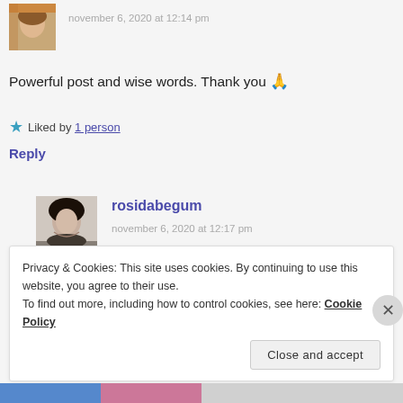[Figure (photo): Small avatar photo of a person with reddish/auburn hair, partially cropped at top]
november 6, 2020 at 12:14 pm
Powerful post and wise words. Thank you 🙏
★ Liked by 1 person
Reply
[Figure (photo): Avatar photo of rosidabegum, a woman with dark hair, smiling, black and white style]
rosidabegum
november 6, 2020 at 12:17 pm
Privacy & Cookies: This site uses cookies. By continuing to use this website, you agree to their use.
To find out more, including how to control cookies, see here: Cookie Policy
Close and accept